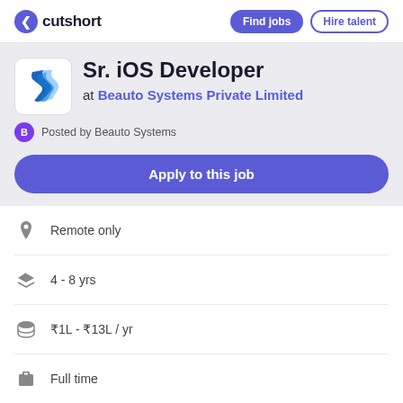cutshort | Find jobs | Hire talent
Sr. iOS Developer
at Beauto Systems Private Limited
Posted by Beauto Systems
Apply to this job
Remote only
4 - 8 yrs
₹1L - ₹13L / yr
Full time